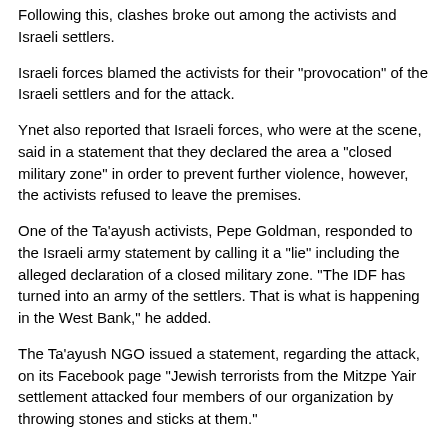Following this, clashes broke out among the activists and Israeli settlers.
Israeli forces blamed the activists for their "provocation" of the Israeli settlers and for the attack.
Ynet also reported that Israeli forces, who were at the scene, said in a statement that they declared the area a "closed military zone" in order to prevent further violence, however, the activists refused to leave the premises.
One of the Ta'ayush activists, Pepe Goldman, responded to the Israeli army statement by calling it a "lie" including the alleged declaration of a closed military zone. "The IDF has turned into an army of the settlers. That is what is happening in the West Bank," he added.
The Ta'ayush NGO issued a statement, regarding the attack, on its Facebook page "Jewish terrorists from the Mitzpe Yair settlement attacked four members of our organization by throwing stones and sticks at them."